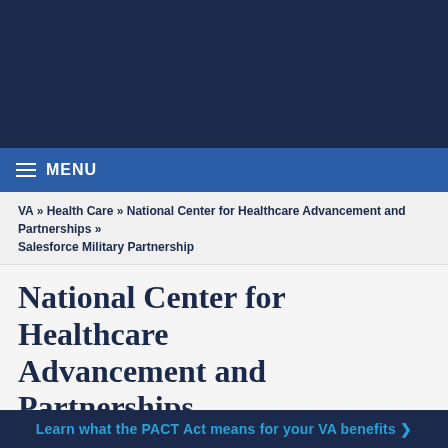[Figure (other): Dark navy blue header banner for VA website]
MENU
VA » Health Care » National Center for Healthcare Advancement and Partnerships » Salesforce Military Partnership
National Center for Healthcare Advancement and Partnerships
Salesforce Military Partnership
VHA partnership with Salesforce supports
Learn what the PACT Act means for your VA benefits ❯